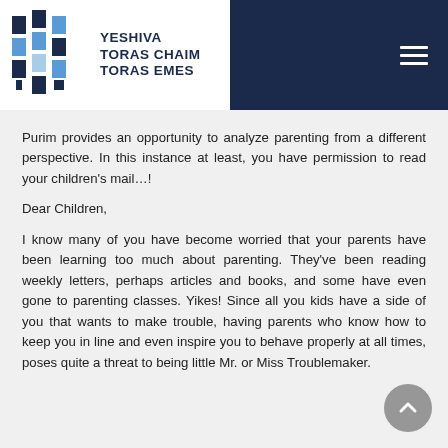[Figure (logo): Yeshiva Toras Chaim Toras Emes logo with blue geometric book/column icon and text]
Purim provides an opportunity to analyze parenting from a different perspective. In this instance at least, you have permission to read your children’s mail…!
Dear Children,
I know many of you have become worried that your parents have been learning too much about parenting. They’ve been reading weekly letters, perhaps articles and books, and some have even gone to parenting classes. Yikes! Since all you kids have a side of you that wants to make trouble, having parents who know how to keep you in line and even inspire you to behave properly at all times, poses quite a threat to being little Mr. or Miss Troublemaker.